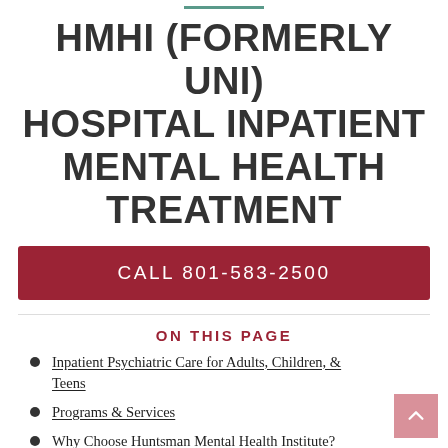HMHI (FORMERLY UNI) HOSPITAL INPATIENT MENTAL HEALTH TREATMENT
CALL 801-583-2500
ON THIS PAGE
Inpatient Psychiatric Care for Adults, Children, & Teens
Programs & Services
Why Choose Huntsman Mental Health Institute?